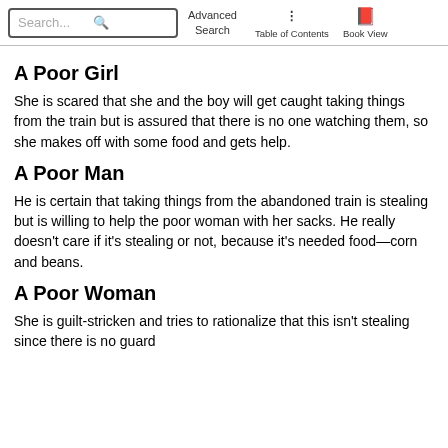Search... Advanced Search Table of Contents Book View
A Poor Girl
She is scared that she and the boy will get caught taking things from the train but is assured that there is no one watching them, so she makes off with some food and gets help.
A Poor Man
He is certain that taking things from the abandoned train is stealing but is willing to help the poor woman with her sacks. He really doesn't care if it's stealing or not, because it's needed food—corn and beans.
A Poor Woman
She is guilt-stricken and tries to rationalize that this isn't stealing since there is no guard at the train. She knows that her guilt has